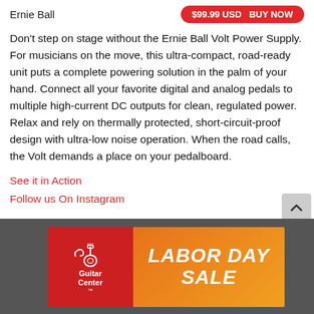Ernie Ball   $99.99 USD  BUY NOW
Don't step on stage without the Ernie Ball Volt Power Supply. For musicians on the move, this ultra-compact, road-ready unit puts a complete powering solution in the palm of your hand. Connect all your favorite digital and analog pedals to multiple high-current DC outputs for clean, regulated power. Relax and rely on thermally protected, short-circuit-proof design with ultra-low noise operation. When the road calls, the Volt demands a place on your pedalboard.
See it in Action
Follow us On Instagram
[Figure (infographic): Guitar Center Labor Day Sale advertisement banner with red Guitar Center logo on left and orange gradient background with 'LABOR DAY SALE' text on right]